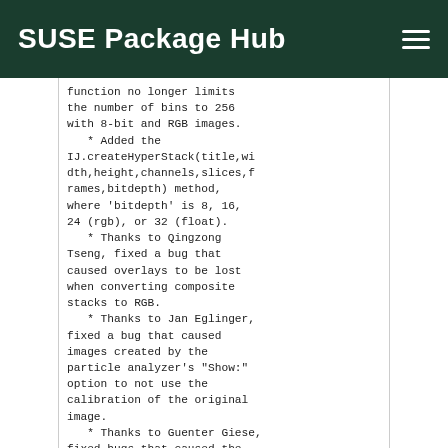SUSE Package Hub
function no longer limits the number of bins to 256 with 8-bit and RGB images.
   * Added the IJ.createHyperStack(title,width,height,channels,slices,frames,bitdepth) method, where 'bitdepth' is 8, 16, 24 (rgb), or 32 (float).
   * Thanks to Qingzong Tseng, fixed a bug that caused overlays to be lost when converting composite stacks to RGB.
   * Thanks to Jan Eglinger, fixed a bug that caused images created by the particle analyzer's "Show:" option to not use the calibration of the original image.
   * Thanks to Guenter Giese, fixed bugs that caused the "Unsigned 16 bit range" choice in the Brightness/Contast Adjuster's "Set" dialog to not work as expected with multi-channel images.
   * Thanks to Barry DeZonia, fixed a bug that caused the command recorder to not work with Image>Stacks>3D Project when processing 16 and 32